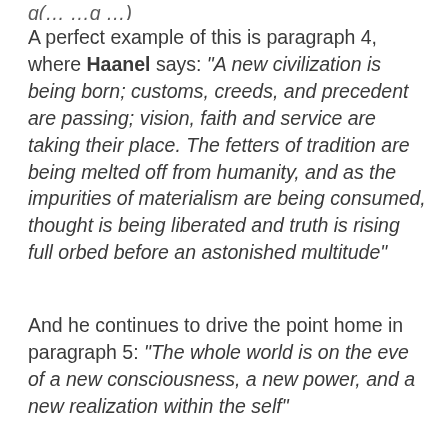A perfect example of this is paragraph 4, where Haanel says: “A new civilization is being born; customs, creeds, and precedent are passing; vision, faith and service are taking their place. The fetters of tradition are being melted off from humanity, and as the impurities of materialism are being consumed, thought is being liberated and truth is rising full orbed before an astonished multitude”
And he continues to drive the point home in paragraph 5: “The whole world is on the eve of a new consciousness, a new power, and a new realization within the self”